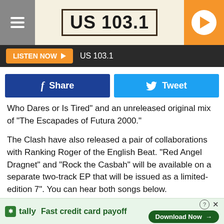US 103.1
LISTEN NOW  US 103.1
Share  Tweet
Who Dares or Is Tired" and an unreleased original mix of "The Escapades of Futura 2000."
The Clash have also released a pair of collaborations with Ranking Roger of the English Beat. "Red Angel Dragnet" and "Rock the Casbah" will be available on a separate two-track EP that will be issued as a limited-edition 7". You can hear both songs below.
Listen to 'Red Angel Dragnet' by the Clash Featuring Ranking
tally Fast credit card payoff  Download Now